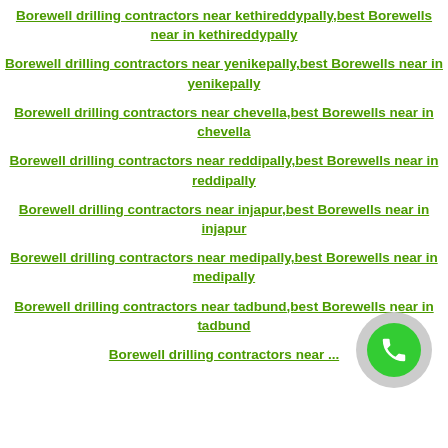Borewell drilling contractors near kethireddypally,best Borewells near in kethireddypally
Borewell drilling contractors near yenikepally,best Borewells near in yenikepally
Borewell drilling contractors near chevella,best Borewells near in chevella
Borewell drilling contractors near reddipally,best Borewells near in reddipally
Borewell drilling contractors near injapur,best Borewells near in injapur
Borewell drilling contractors near medipally,best Borewells near in medipally
Borewell drilling contractors near tadbund,best Borewells near in tadbund
Borewell drilling contractors near ...
[Figure (illustration): Green phone call button with grey circular background]